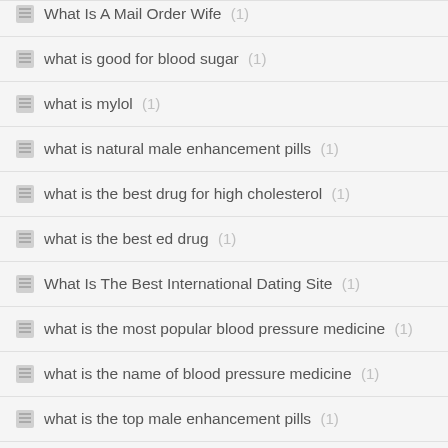What Is A Mail Order Wife (1)
what is good for blood sugar (1)
what is mylol (1)
what is natural male enhancement pills (1)
what is the best drug for high cholesterol (1)
what is the best ed drug (1)
What Is The Best International Dating Site (1)
what is the most popular blood pressure medicine (1)
what is the name of blood pressure medicine (1)
what is the top male enhancement pills (1)